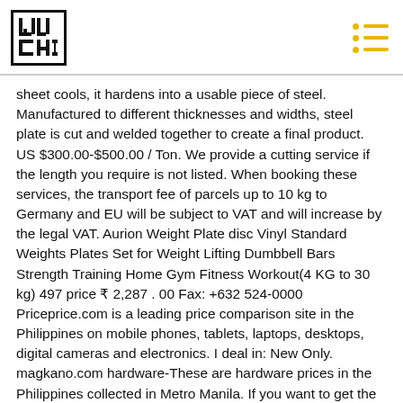[Figure (logo): Willy Chin logo - black square border with stylized text WILLY CHIN in blocky font]
sheet cools, it hardens into a usable piece of steel. Manufactured to different thicknesses and widths, steel plate is cut and welded together to create a final product. US $300.00-$500.00 / Ton. We provide a cutting service if the length you require is not listed. When booking these services, the transport fee of parcels up to 10 kg to Germany and EU will be subject to VAT and will increase by the legal VAT. Aurion Weight Plate disc Vinyl Standard Weights Plates Set for Weight Lifting Dumbbell Bars Strength Training Home Gym Fitness Workout(4 KG to 30 kg) 497 price ₹ 2,287 . 00 Fax: +632 524-0000 Priceprice.com is a leading price comparison site in the Philippines on mobile phones, tablets, laptops, desktops, digital cameras and electronics. I deal in: New Only. magkano.com hardware-These are hardware prices in the Philippines collected in Metro Manila. If you want to get the weight of other metals, like stainless steel, aluminum, you can check out this article to... +632 8731-